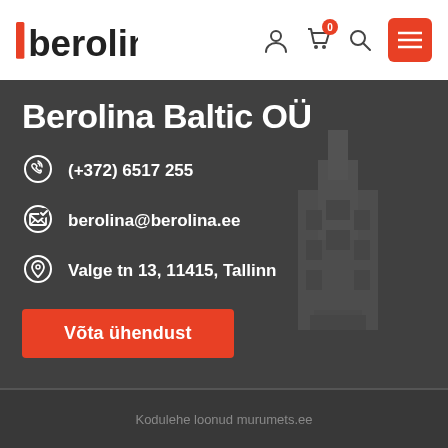berolina (logo) — navigation icons: user, cart (0), search, menu
Berolina Baltic OÜ
(+372) 6517 255
berolina@berolina.ee
Valge tn 13, 11415, Tallinn
Võta ühendust
Kodulehe loonud murumets.ee